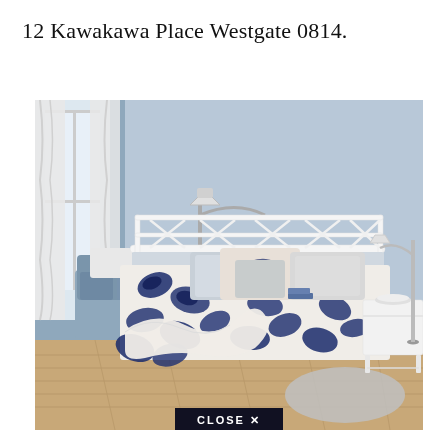12 Kawakawa Place Westgate 0814.
[Figure (photo): Bedroom scene showing a white metal bed frame with navy and white paisley bedding, white throw blanket, blue-grey walls, white curtains, a floor lamp on the left, a white nightstand on the right, and a grey rug on wooden flooring. A 'CLOSE X' button overlay appears at the bottom center.]